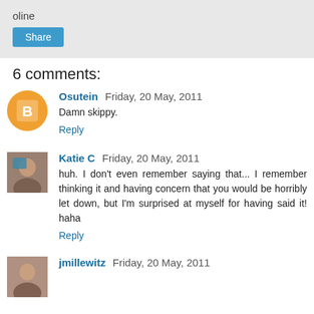oline
Share
6 comments:
Osutein  Friday, 20 May, 2011
Damn skippy.
Reply
Katie C  Friday, 20 May, 2011
huh. I don't even remember saying that... I remember thinking it and having concern that you would be horribly let down, but I'm surprised at myself for having said it! haha
Reply
jmillewitz  Friday, 20 May, 2011